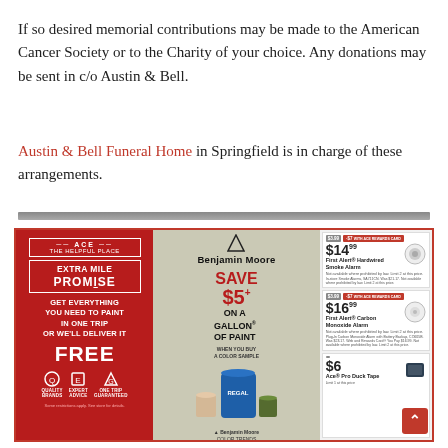If so desired memorial contributions may be made to the American Cancer Society or to the Charity of your choice. Any donations may be sent in c/o Austin & Bell.
Austin & Bell Funeral Home in Springfield is in charge of these arrangements.
[Figure (advertisement): Ace Hardware advertisement featuring Benjamin Moore paint promotion. Left red panel: ACE Extra Mile Promise — Get everything you need to paint in one trip or we'll deliver it FREE. Middle panel: Benjamin Moore Save $5 on a gallon of paint when you buy a color sample. Right panel: Product cards showing First Alert Hardwired Smoke Alarm $14.99, First Alert Carbon Monoxide Alarm $16.99, and Ace Pro Duck Tape $5 (partial).]